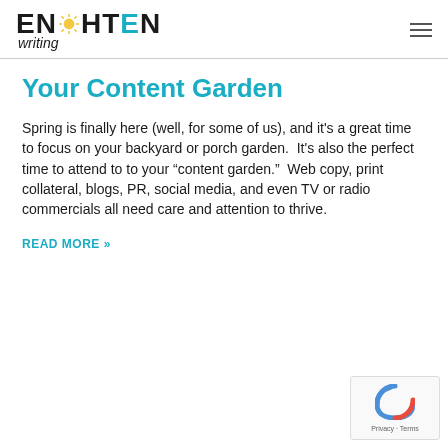ENLIGHTEN writing
Your Content Garden
Spring is finally here (well, for some of us), and it’s a great time to focus on your backyard or porch garden.  It’s also the perfect time to attend to to your “content garden.”  Web copy, print collateral, blogs, PR, social media, and even TV or radio commercials all need care and attention to thrive.
READ MORE »